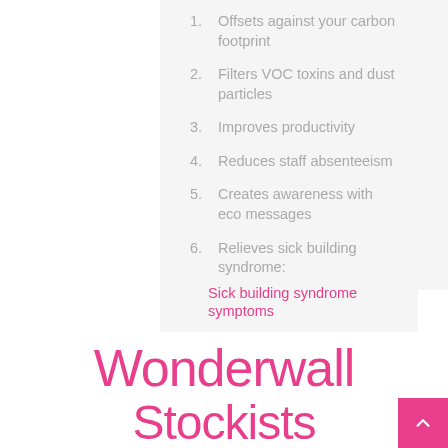1. Offsets against your carbon footprint
2. Filters VOC toxins and dust particles
3. Improves productivity
4. Reduces staff absenteeism
5. Creates awareness with eco messages
6. Relieves sick building syndrome:
Sick building syndrome symptoms
Wonderwall
Stockists